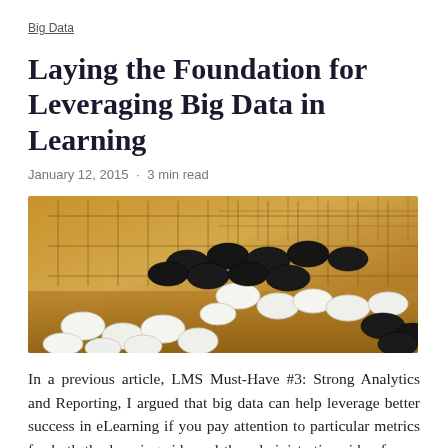Big Data
Laying the Foundation for Leveraging Big Data in Learning
January 12, 2015 · 3 min read
[Figure (photo): A close-up photograph of a Go board game with black and white stones arranged on a wooden grid board]
In a previous article, LMS Must-Have #3: Strong Analytics and Reporting, I argued that big data can help leverage better success in eLearning if you pay attention to particular metrics for both the learning side and the administrative side of your LMS. But are learning professionals ready to make use of big data?